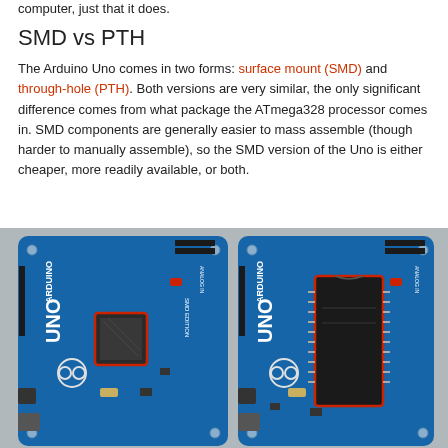computer, just that it does.
SMD vs PTH
The Arduino Uno comes in two forms: surface mount (SMD) and through-hole (PTH). Both versions are very similar, the only significant difference comes from what package the ATmega328 processor comes in. SMD components are generally easier to mass assemble (though harder to manually assemble), so the SMD version of the Uno is either cheaper, more readily available, or both.
[Figure (photo): Two Arduino Uno boards side by side: left is the SMD edition with a square SMD ATmega328 chip, right is the PTH edition with a DIP ATmega328 chip in a red rectangle outline.]